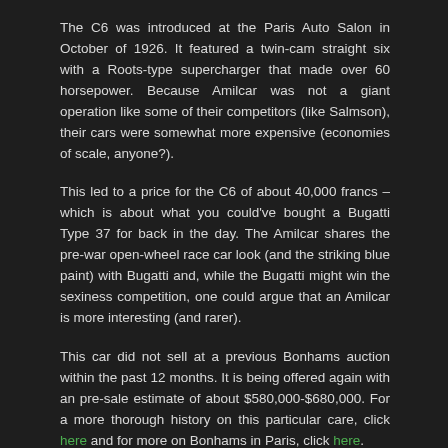The C6 was introduced at the Paris Auto Salon in October of 1926. It featured a twin-cam straight six with a Roots-type supercharger that made over 60 horsepower. Because Amilcar was not a giant operation like some of their competitors (like Salmson), their cars were somewhat more expensive (economies of scale, anyone?).
This led to a price for the C6 of about 40,000 francs – which is about what you could've bought a Bugatti Type 37 for back in the day. The Amilcar shares the pre-war open-wheel race car look (and the striking blue paint) with Bugatti and, while the Bugatti might win the sexiness competition, one could argue that an Amilcar is more interesting (and rarer).
This car did not sell at a previous Bonhams auction within the past 12 months. It is being offered again with an pre-sale estimate of about $580,000-$680,000. For a more thorough history on this particular care, click here and for more on Bonhams in Paris, click here.